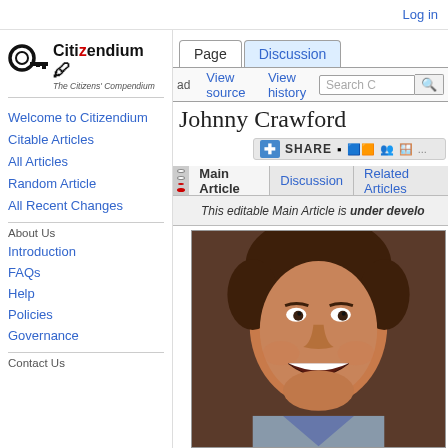Log in
[Figure (logo): Citizendium logo with key icon and text 'The Citizens' Compendium']
Welcome to Citizendium
Citable Articles
All Articles
Random Article
All Recent Changes
About Us
Introduction
FAQs
Help
Policies
Governance
Contact Us
Johnny Crawford
| Main Article | Discussion | Related Articles |
| --- | --- | --- |
This editable Main Article is under develo...
[Figure (photo): Black and white photo of a smiling young boy (Johnny Crawford as a child actor)]